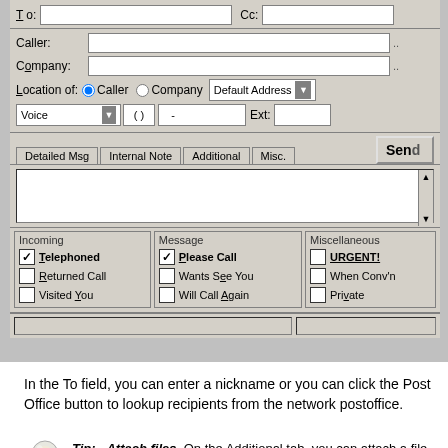[Figure (screenshot): A telephone message / compose dialog box from a legacy desktop application. Contains fields for To, Cc, Caller, Company, Location, Voice/phone, tabs (Detailed Msg, Internal Note, Additional, Misc.), a message text area, and checkbox groups for Incoming (Telephoned checked, Returned Call, Visited You), Message (Please Call checked, Wants See You, Will Call Again), and Miscellaneous (URGENT!, When Conv'n, Private).]
In the To field, you can enter a nickname or you can click the Post Office button to lookup recipients from the network postoffice.
Tip:   Attach files.  On the Additional tab, you can attach a file to the message.